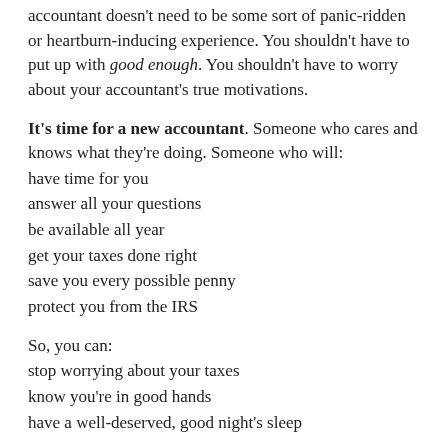accountant doesn't need to be some sort of panic-ridden or heartburn-inducing experience. You shouldn't have to put up with good enough. You shouldn't have to worry about your accountant's true motivations.
It's time for a new accountant. Someone who cares and knows what they're doing. Someone who will:
have time for you
answer all your questions
be available all year
get your taxes done right
save you every possible penny
protect you from the IRS
So, you can:
stop worrying about your taxes
know you're in good hands
have a well-deserved, good night's sleep